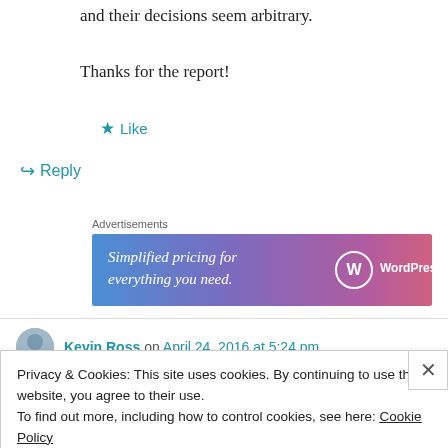and their decisions seem arbitrary.
Thanks for the report!
★ Like
↪ Reply
Advertisements
[Figure (infographic): WordPress.com ad banner: 'Simplified pricing for everything you need.' with WordPress logo on gradient blue-purple-pink background]
Kevin Ross on April 24, 2016 at 5:24 pm
Privacy & Cookies: This site uses cookies. By continuing to use this website, you agree to their use.
To find out more, including how to control cookies, see here: Cookie Policy
Close and accept